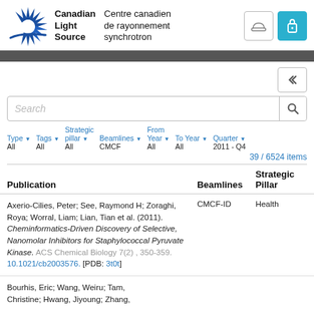Canadian Light Source | Centre canadien de rayonnement synchrotron
Search
Type ▼ All | Tags ▼ All | Strategic pillar ▼ All | Beamlines ▼ CMCF | From Year ▼ All | To Year ▼ All | Quarter ▼ 2011 - Q4
39 / 6524 items
| Publication | Beamlines | Strategic Pillar |
| --- | --- | --- |
| Axerio-Cilies, Peter; See, Raymond H; Zoraghi, Roya; Worral, Liam; Lian, Tian et al. (2011). Cheminformatics-Driven Discovery of Selective, Nanomolar Inhibitors for Staphylococcal Pyruvate Kinase. ACS Chemical Biology 7(2) , 350-359. 10.1021/cb2003576. [PDB: 3t0t] | CMCF-ID | Health |
| Bourhis, Eric; Wang, Weiru; Tam, Christine; Hwang, Jiyoung; Zhang... |  |  |